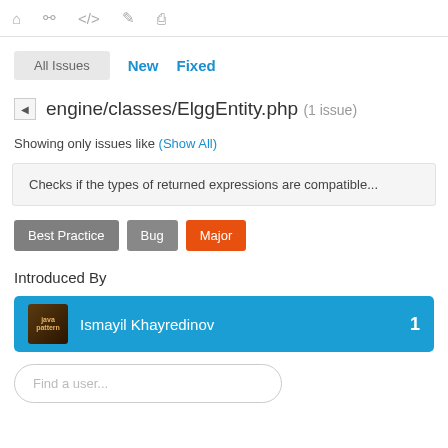All Issues | New | Fixed
engine/classes/ElggEntity.php (1 issue)
Showing only issues like (Show All)
Checks if the types of returned expressions are compatible...
Best Practice
Bug
Major
Introduced By
Ismayil Khayredinov   1
Find a user...